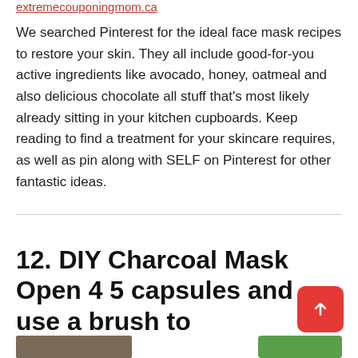extremecouponingmom.ca
We searched Pinterest for the ideal face mask recipes to restore your skin. They all include good-for-you active ingredients like avocado, honey, oatmeal and also delicious chocolate all stuff that's most likely already sitting in your kitchen cupboards. Keep reading to find a treatment for your skincare requires, as well as pin along with SELF on Pinterest for other fantastic ideas.
12. DIY Charcoal Mask Open 4 5 capsules and use a brush to
[Figure (photo): Partial view of person's face at bottom left, and a green element at bottom right]